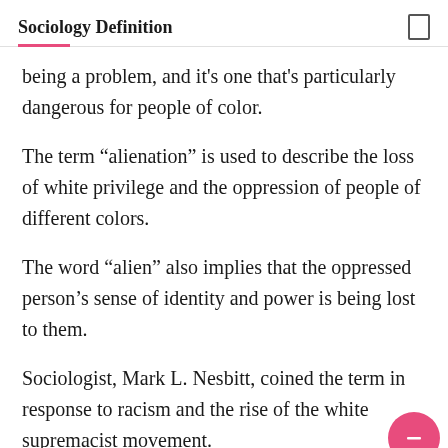Sociology Definition
being a problem, and it’s one that’s particularly dangerous for people of color.
The term “alienation” is used to describe the loss of white privilege and the oppression of people of different colors.
The word “alien” also implies that the oppressed person’s sense of identity and power is being lost to them.
Sociologist, Mark L. Nesbitt, coined the term in response to racism and the rise of the white supremacist movement.